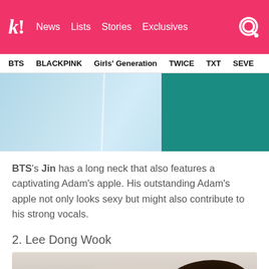k! News Lists Stories Exclusives
BTS  BLACKPINK  Girls' Generation  TWICE  TXT  SEVE
[Figure (photo): Partial photo showing light blue clothing and a teal/dark background block]
BTS's Jin has a long neck that also features a captivating Adam's apple. His outstanding Adam's apple not only looks sexy but might also contribute to his strong vocals.
2. Lee Dong Wook
[Figure (photo): Bottom portion of photo showing a person with dark hair, a yellow drink with pink straw on the left, light background]